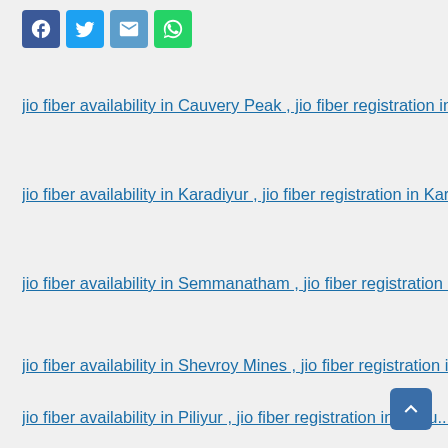[Figure (other): Social share buttons row: Facebook (blue), Twitter (light blue), Email (steel blue), WhatsApp (green)]
jio fiber availability in Cauvery Peak , jio fiber registration in Cauvery Peak
jio fiber availability in Karadiyur , jio fiber registration in Karadiyur
jio fiber availability in Semmanatham , jio fiber registration in Semmanatham
jio fiber availability in Shevroy Mines , jio fiber registration in Shevroy Mines
jio fiber availability in Piliyur , jio fiber registration in Piliyur